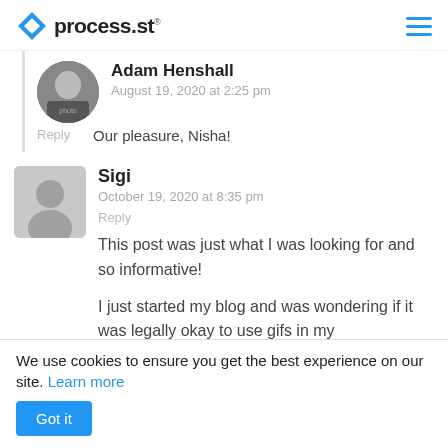process.st
Adam Henshall
August 19, 2020 at 2:25 pm
Reply
Our pleasure, Nisha!
Sigi
October 19, 2020 at 8:35 pm
Reply
This post was just what I was looking for and so informative!

I just started my blog and was wondering if it was legally okay to use gifs in my
We use cookies to ensure you get the best experience on our site. Learn more
Got it